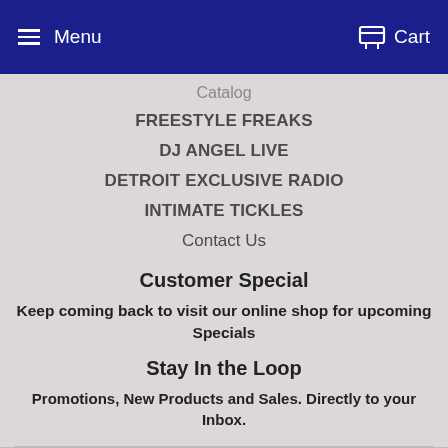Menu   Cart
Catalog
FREESTYLE FREAKS
DJ ANGEL LIVE
DETROIT EXCLUSIVE RADIO
INTIMATE TICKLES
Contact Us
Customer Special
Keep coming back to visit our online shop for upcoming Specials
Stay In the Loop
Promotions, New Products and Sales. Directly to your Inbox.